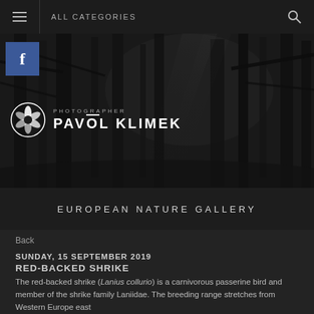ALL CATEGORIES
[Figure (photo): Dark moody black and white forest photography background used as hero banner, with faint light rays through trees]
[Figure (logo): Pavol Klimek Photographer logo with a leaf/flower circular icon on the left and text PHOTOGRAPHER / PAVOL KLIMEK on the right in white]
EUROPEAN NATURE GALLERY
Back
SUNDAY, 15 SEPTEMBER 2019
RED-BACKED SHRIKE
The red-backed shrike (Lanius collurio) is a carnivorous passerine bird and member of the shrike family Laniidae. The breeding range stretches from Western Europe east